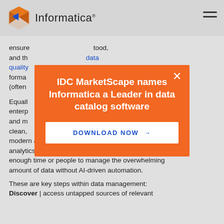Informatica
ensure … tood, and th… data quality … olete, forma… use (often …
[Figure (other): Popup modal with orange background. Title: IDC MarketScape names Informatica a Leader in data catalog software. Button: DOWNLOAD NOW →. Close X button top right.]
Equall… is enterp… atch, and m… o that clean, … modern applications, systems, and cloud-based analytics that need it. Organizations simply do not have enough time or people to manage the overwhelming amount of data without AI-driven automation.
These are key steps within data management:
Discover | access untapped sources of relevant …